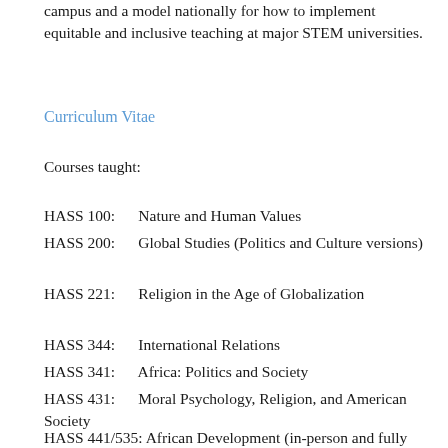campus and a model nationally for how to implement equitable and inclusive teaching at major STEM universities.
Curriculum Vitae
Courses taught:
HASS 100:      Nature and Human Values
HASS 200:      Global Studies (Politics and Culture versions)
HASS 221:      Religion in the Age of Globalization
HASS 344:      International Relations
HASS 341:      Africa: Politics and Society
HASS 431:      Moral Psychology, Religion, and American Society
HASS 441/535: African Development (in-person and fully online)